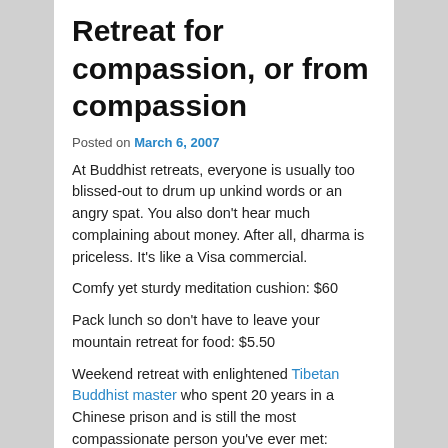Retreat for compassion, or from compassion
Posted on March 6, 2007
At Buddhist retreats, everyone is usually too blissed-out to drum up unkind words or an angry spat. You also don't hear much complaining about money. After all, dharma is priceless. It's like a Visa commercial.
Comfy yet sturdy meditation cushion: $60
Pack lunch so don't have to leave your mountain retreat for food: $5.50
Weekend retreat with enlightened Tibetan Buddhist master who spent 20 years in a Chinese prison and is still the most compassionate person you've ever met: priceless.